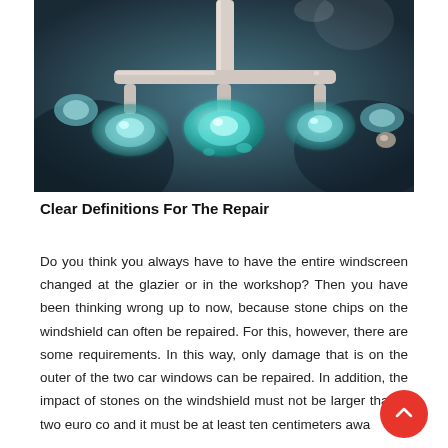[Figure (photo): Windshield repair tool with suction cups and green resin on a car windscreen, close-up shot]
Clear Definitions For The Repair
Do you think you always have to have the entire windscreen changed at the glazier or in the workshop? Then you have been thinking wrong up to now, because stone chips on the windshield can often be repaired. For this, however, there are some requirements. In this way, only damage that is on the outer of the two car windows can be repaired. In addition, the impact of stones on the windshield must not be larger than a two euro co and it must be at least ten centimeters awa